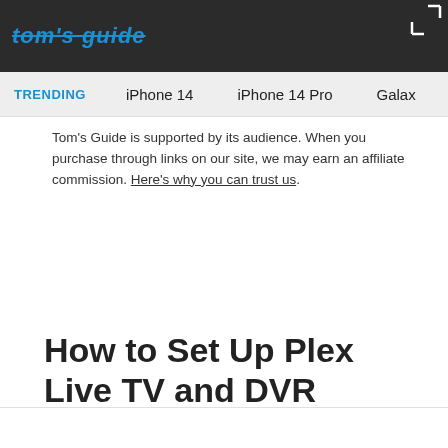tom's guide [header navigation bar with logo, trending: iPhone 14, iPhone 14 Pro, Galaxy]
Tom's Guide is supported by its audience. When you purchase through links on our site, we may earn an affiliate commission. Here's why you can trust us.
How to Set Up Plex Live TV and DVR